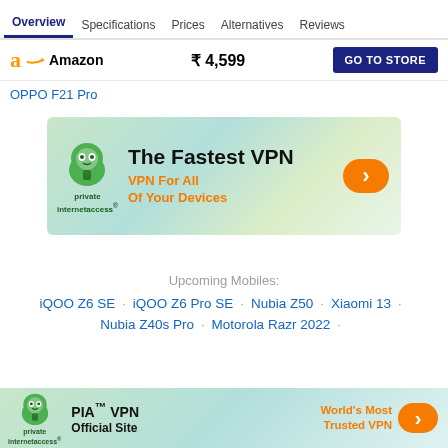Overview  Specifications  Prices  Alternatives  Reviews
Amazon  ₹ 4,599  GO TO STORE
OPPO F21 Pro
[Figure (advertisement): Private Internet Access VPN ad banner: green mascot logo, text 'The Fastest VPN', 'VPN For All Of Your Devices' in orange, orange arrow button]
Upcoming Mobiles:
iQOO Z6 SE · iQOO Z6 Pro SE · Nubia Z50 · Xiaomi 13 · Nubia Z40s Pro · Motorola Razr 2022 ·
[Figure (advertisement): PIA VPN bottom banner: green mascot, 'PIA™ VPN Official Site', 'World's Most Trusted VPN' in orange, orange arrow button]